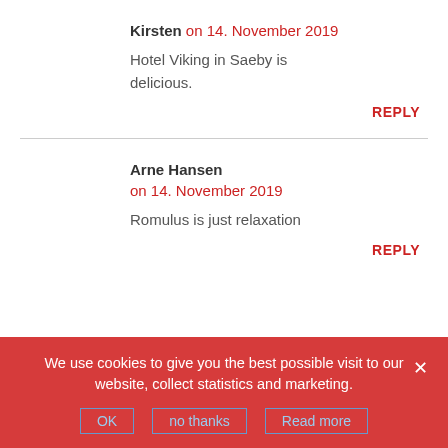Kirsten on 14. November 2019
Hotel Viking in Saeby is delicious.
REPLY
Arne Hansen on 14. November 2019
Romulus is just relaxation
REPLY
We use cookies to give you the best possible visit to our website, collect statistics and marketing.
OK | no thanks | Read more